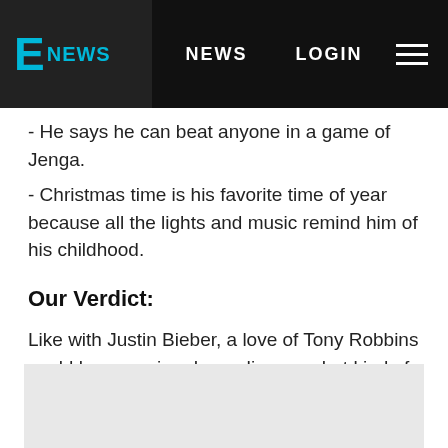E NEWS | NEWS | LOGIN
- He says he can beat anyone in a game of Jenga.
- Christmas time is his favorite time of year because all the lights and music remind him of his childhood.
Our Verdict:
Like with Justin Bieber, a love of Tony Robbins could be annoying depending on what kind of love it is. We love a lot of things that we wouldn't mention in our Bachelor bio so this is gonna be a wait and see.
[Figure (other): Gray advertisement placeholder box at the bottom of the page]